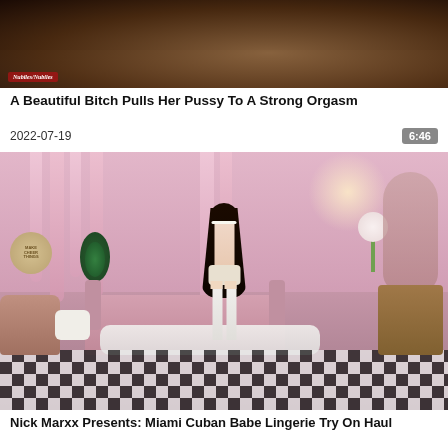[Figure (photo): Thumbnail image of a person's back/torso with tattoo, dark background, small red logo watermark in lower left]
A Beautiful Bitch Pulls Her Pussy To A Strong Orgasm
2022-07-19
6:46
[Figure (photo): Woman in white lingerie standing with back to camera in a decorated pink room with checkered floor, plants, couch, and vanity mirror]
Nick Marxx Presents: Miami Cuban Babe Lingerie Try On Haul